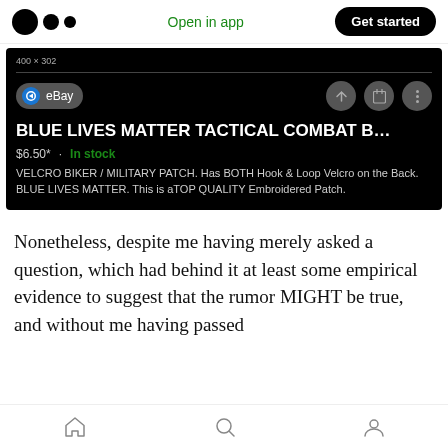Open in app  Get started
[Figure (screenshot): Screenshot of an eBay listing for 'BLUE LIVES MATTER TACTICAL COMBAT B...' priced at $6.50* · In stock. Description: VELCRO BIKER / MILITARY PATCH. Has BOTH Hook & Loop Velcro on the Back. BLUE LIVES MATTER. This is aTOP QUALITY Embroidered Patch.]
Nonetheless, despite me having merely asked a question, which had behind it at least some empirical evidence to suggest that the rumor MIGHT be true, and without me having passed
home  search  profile